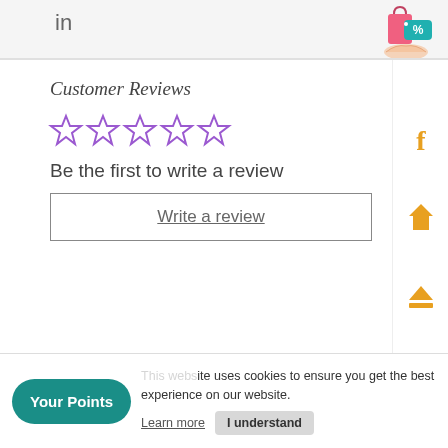in
[Figure (illustration): Shopping bag with percent tag icon, held by a hand — colorful e-commerce discount illustration in top right area]
Customer Reviews
[Figure (other): Five empty/outline star rating icons in purple/violet color]
Be the first to write a review
Write a review
[Figure (other): Facebook icon (f) in orange/gold color on right sidebar]
[Figure (other): Home icon in orange/gold color on right sidebar]
[Figure (other): Eject/upload icon in orange/gold on right sidebar]
[Figure (other): Circular scroll-to-top arrow button, black circle with white up arrow]
Your Points
This website uses cookies to ensure you get the best experience on our website.
Learn more
I understand